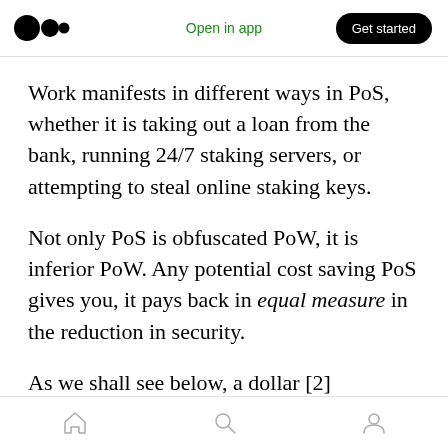Medium logo | Open in app | Get started
Work manifests in different ways in PoS, whether it is taking out a loan from the bank, running 24/7 staking servers, or attempting to steal online staking keys.
Not only PoS is obfuscated PoW, it is inferior PoW. Any potential cost saving PoS gives you, it pays back in equal measure in the reduction in security.
As we shall see below, a dollar [2] fleetingly locked up in staking creates nowhere near the same level of security as a dollar spent in mining.
Home | Search | Profile